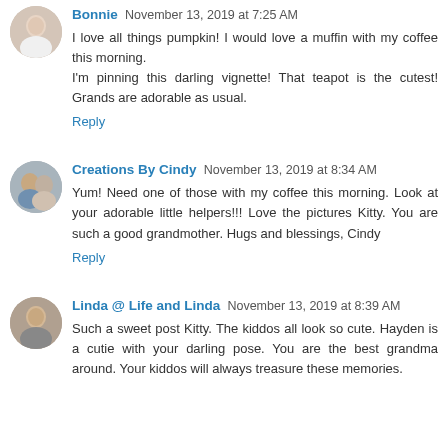Bonnie November 13, 2019 at 7:25 AM
I love all things pumpkin! I would love a muffin with my coffee this morning.
I'm pinning this darling vignette! That teapot is the cutest! Grands are adorable as usual.
Reply
Creations By Cindy November 13, 2019 at 8:34 AM
Yum! Need one of those with my coffee this morning. Look at your adorable little helpers!!! Love the pictures Kitty. You are such a good grandmother. Hugs and blessings, Cindy
Reply
Linda @ Life and Linda November 13, 2019 at 8:39 AM
Such a sweet post Kitty. The kiddos all look so cute. Hayden is a cutie with your darling pose. You are the best grandma around. Your kiddos will always treasure these memories.